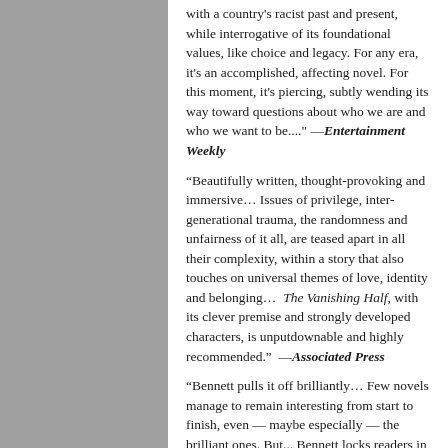with a country's racist past and present, while interrogative of its foundational values, like choice and legacy. For any era, it's an accomplished, affecting novel. For this moment, it's piercing, subtly wending its way toward questions about who we are and who we want to be...." —Entertainment Weekly
"Beautifully written, thought-provoking and immersive… Issues of privilege, inter-generational trauma, the randomness and unfairness of it all, are teased apart in all their complexity, within a story that also touches on universal themes of love, identity and belonging…  The Vanishing Half, with its clever premise and strongly developed characters, is unputdownable and highly recommended."  —Associated Press
"Bennett pulls it off brilliantly… Few novels manage to remain interesting from start to finish, even — maybe especially — the brilliant ones. But... Bennett locks readers in and never lets them go… Stunning…She leaves any weighty parallels — between, for